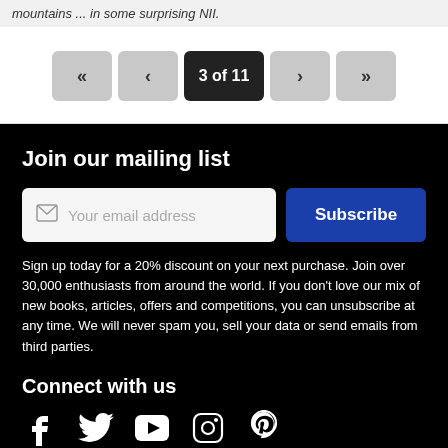mountains ... in some surprising NII.
3 of 11
Join our mailing list
Your email address
Subscribe
Sign up today for a 20% discount on your next purchase. Join over 30,000 enthusiasts from around the world. If you don't love our mix of new books, articles, offers and competitions, you can unsubscribe at any time. We will never spam you, sell your data or send emails from third parties.
Connect with us